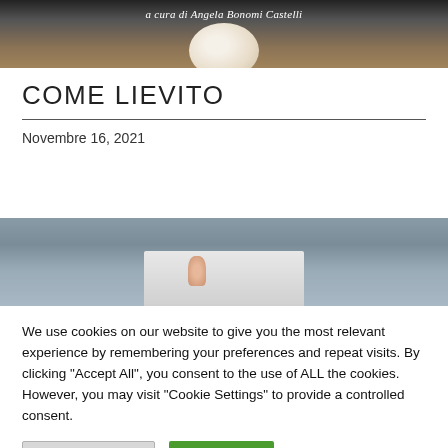[Figure (photo): Top portion of a book cover or webpage header image showing flour being dusted/sifted over a dough ball on a wooden surface, with text 'a cura di Angela Bonomi Castelli' in white italic over a dark background]
COME LIEVITO
Novembre 16, 2021
[Figure (photo): Partial photograph showing a grey architectural background with a hand holding what appears to be a white card or paper, image is cropped]
We use cookies on our website to give you the most relevant experience by remembering your preferences and repeat visits. By clicking "Accept All", you consent to the use of ALL the cookies. However, you may visit "Cookie Settings" to provide a controlled consent.